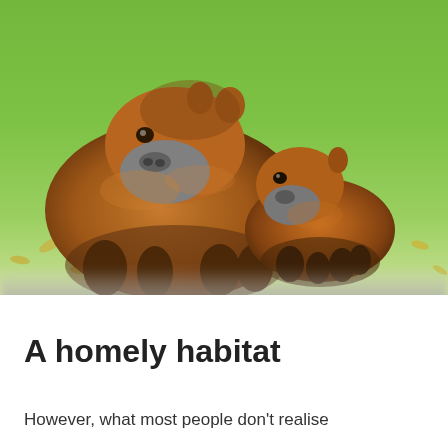[Figure (photo): A large adult capybara and a smaller baby capybara sitting together on green grass with scattered fallen leaves.]
A homely habitat
However, what most people don't realise